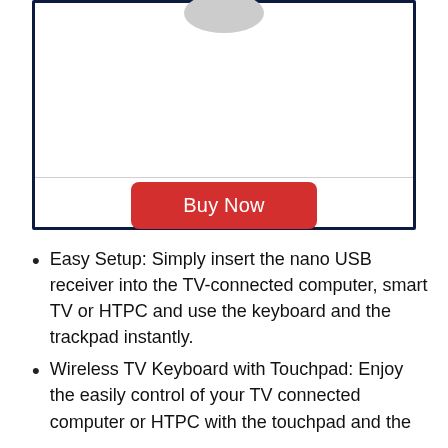[Figure (photo): Product image area with dark navy border and a 'Buy Now' red button below a horizontal divider line.]
Easy Setup: Simply insert the nano USB receiver into the TV-connected computer, smart TV or HTPC and use the keyboard and the trackpad instantly.
Wireless TV Keyboard with Touchpad: Enjoy the easily control of your TV connected computer or HTPC with the touchpad and the